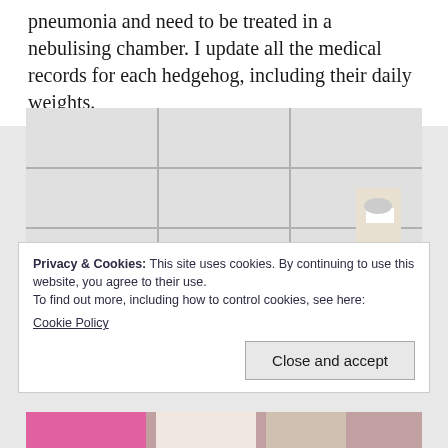pneumonia and need to be treated in a nebulising chamber. I update all the medical records for each hedgehog, including their daily weights.
[Figure (photo): Photo of a hedgehog being held near white tiles and a medical/pharmaceutical carton on the right side]
Privacy & Cookies: This site uses cookies. By continuing to use this website, you agree to their use.
To find out more, including how to control cookies, see here:
Cookie Policy
Close and accept
[Figure (photo): Partial photo visible at the bottom of the page showing colorful items]